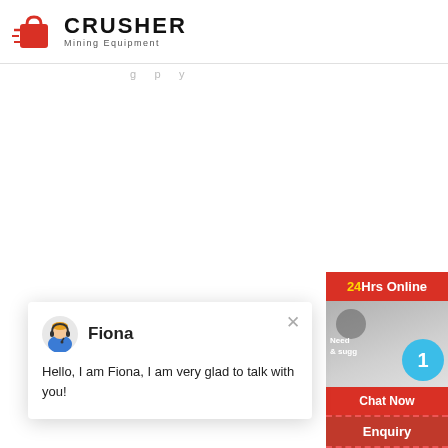[Figure (logo): Crusher Mining Equipment logo with red shopping bag icon and bold CRUSHER text, Mining Equipment subtitle]
g p y
[Figure (screenshot): Chat widget popup showing agent Fiona with avatar, greeting message, 24Hrs Online banner, agent photo area with Chat Now button, Enquiry section, and limingjlmofen@sina.com email, with notification badge showing 1]